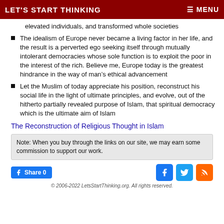LET'S START THINKING   ☰ MENU
elevated individuals, and transformed whole societies
The idealism of Europe never became a living factor in her life, and the result is a perverted ego seeking itself through mutually intolerant democracies whose sole function is to exploit the poor in the interest of the rich. Believe me, Europe today is the greatest hindrance in the way of man's ethical advancement
Let the Muslim of today appreciate his position, reconstruct his social life in the light of ultimate principles, and evolve, out of the hitherto partially revealed purpose of Islam, that spiritual democracy which is the ultimate aim of Islam
The Reconstruction of Religious Thought in Islam
Note: When you buy through the links on our site, we may earn some commission to support our work.
© 2006-2022 LetsStartThinking.org. All rights reserved.